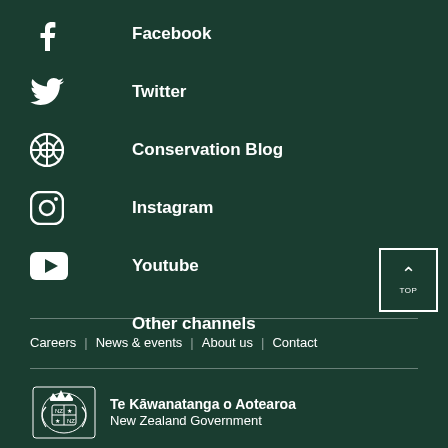Facebook
Twitter
Conservation Blog
Instagram
Youtube
Other channels
Careers   News & events   About us   Contact
[Figure (logo): New Zealand Government coat of arms logo with text Te Kawanatanga o Aotearoa New Zealand Government]